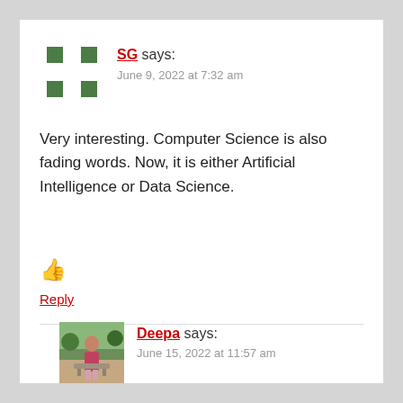[Figure (logo): Green pixel/arrow avatar icon for user SG]
SG says:
June 9, 2022 at 7:32 am
Very interesting. Computer Science is also fading words. Now, it is either Artificial Intelligence or Data Science.
[Figure (illustration): Red thumbs up icon]
Reply
[Figure (photo): Profile photo of Deepa, a woman sitting outdoors]
Deepa says:
June 15, 2022 at 11:57 am
In specific branch outs, I agree. But it's all from